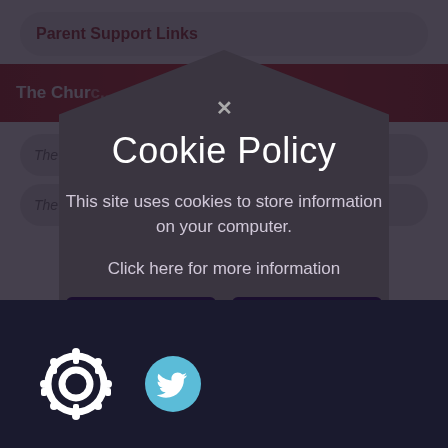Parent Support Links
The Churc...
The Fanta...
The Sch...
Cookie Policy
This site uses cookies to store information on your computer.
Click here for more information
Allow Cookies
Deny Cookies
[Figure (logo): Hub/gear icon with circle of people figures]
[Figure (logo): Twitter bird icon in blue circle]